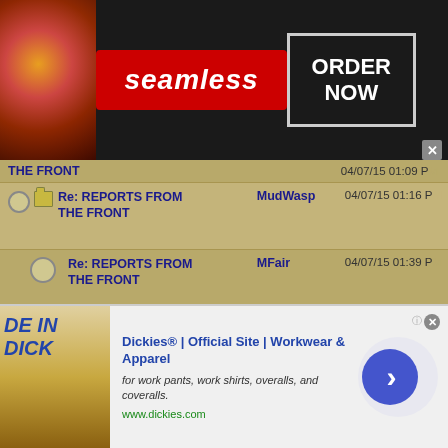[Figure (screenshot): Seamless food ordering advertisement banner with pizza image, red Seamless logo, and ORDER NOW button]
Re: REPORTS FROM THE FRONT — MudWasp — 04/07/15 01:16 PM
Re: REPORTS FROM THE FRONT — MFair — 04/07/15 01:39 PM
Re: REPORTS FROM THE FRONT — MudWasp — 04/07/15 04:09 PM
Re: REPORTS FROM THE FRONT — OldHat — 04/08/15 06:50 PM
Re: REPORTS FROM THE FRONT — lederhosen — 04/09/15 09:30 AM
Re: REPORTS FROM THE FRONT — Banjoman — 04/09/15 02:03 PM
[Figure (screenshot): Dickies workwear advertisement banner with logo, tagline 'for work pants, work shirts, overalls, and coveralls', url www.dickies.com and blue circular arrow button]